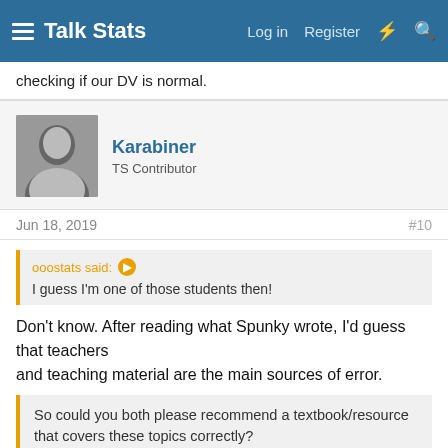Talk Stats | Log in | Register
checking if our DV is normal.
Karabiner
TS Contributor
Jun 18, 2019
#10
ooostats said:
I guess I'm one of those students then!
Don't know. After reading what Spunky wrote, I'd guess that teachers
and teaching material are the main sources of error.
So could you both please recommend a textbook/resource that covers these topics correctly?
Good question. Unfortunately, I am not really up with that.